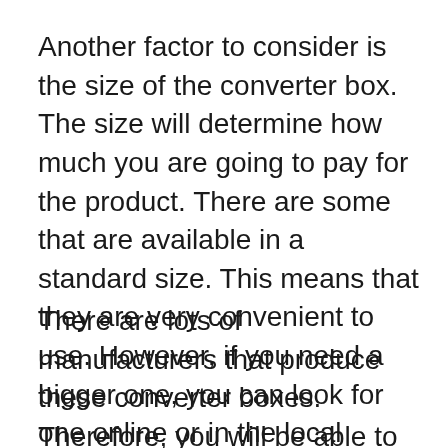Another factor to consider is the size of the converter box. The size will determine how much you are going to pay for the product. There are some that are available in a standard size. This means that they are very convenient to use. However, if you need a bigger one, you can look for one online or in the local stores.
There are lots of manufacturers that produce these converter boxes. Therefore, you will be able to find one that meets your needs. However, before making the final decision, you have to take into consideration the other features of the product. This will help you make the right decision. Look for one that has the features that you need in order to